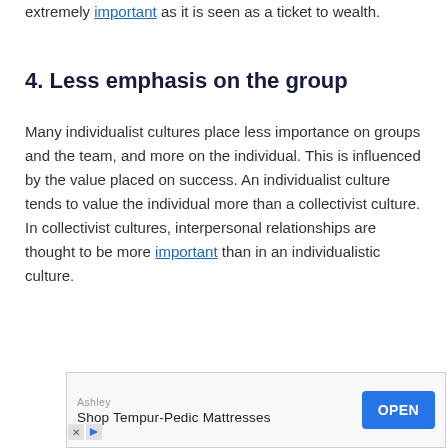extremely important as it is seen as a ticket to wealth.
4. Less emphasis on the group
Many individualist cultures place less importance on groups and the team, and more on the individual. This is influenced by the value placed on success. An individualist culture tends to value the individual more than a collectivist culture. In collectivist cultures, interpersonal relationships are thought to be more important than in an individualistic culture.
[Figure (other): Advertisement banner: Ashley - Shop Tempur-Pedic Mattresses with an OPEN button]